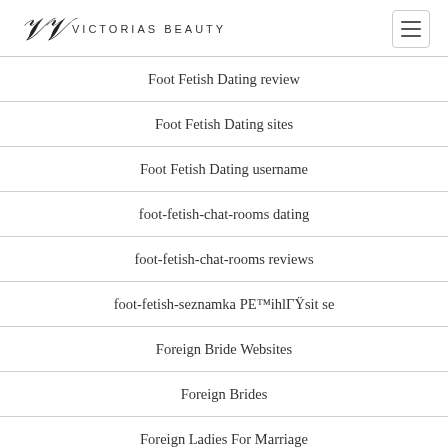Victorias Beauty
Foot Fetish Dating review
Foot Fetish Dating sites
Foot Fetish Dating username
foot-fetish-chat-rooms dating
foot-fetish-chat-rooms reviews
foot-fetish-seznamka PE™ihlГŸsit se
Foreign Bride Websites
Foreign Brides
Foreign Ladies For Marriage